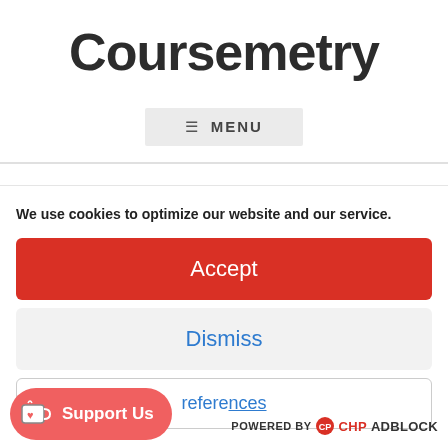Coursemetry
≡ MENU
We use cookies to optimize our website and our service.
Accept
Dismiss
Preferences
Support Us
POWERED BY CHPADBLOCK